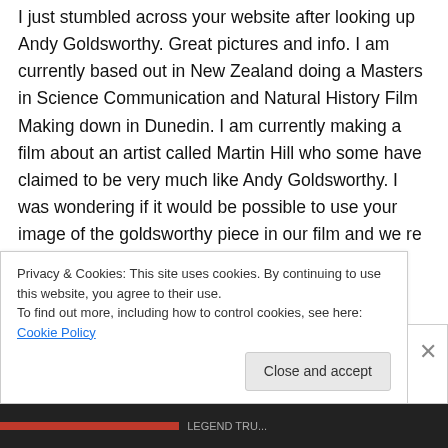I just stumbled across your website after looking up Andy Goldsworthy. Great pictures and info. I am currently based out in New Zealand doing a Masters in Science Communication and Natural History Film Making down in Dunedin. I am currently making a film about an artist called Martin Hill who some have claimed to be very much like Andy Goldsworthy. I was wondering if it would be possible to use your image of the goldsworthy piece in our film and we re wondering if you had any more. We would
Privacy & Cookies: This site uses cookies. By continuing to use this website, you agree to their use.
To find out more, including how to control cookies, see here: Cookie Policy
Close and accept